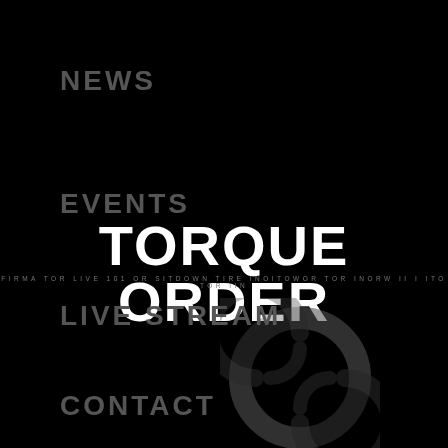NEWS
EVENTS
TORQUE ORDER
FIRMA TOR LIVE 101 OR SITDOWN TIRE INOITOWOR TOR INORW II I ITO TOR IIN
LIVE STREAM
[Figure (logo): Spiral swirl logo mark in dark grey on black background]
CONTACT